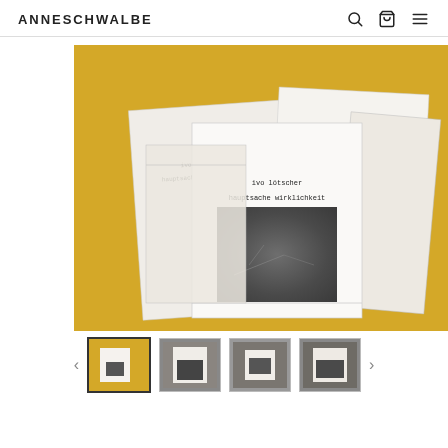ANNESCHWALBE
[Figure (photo): Product photo showing several white booklets/zines arranged on a yellow/gold background. The front booklet is white with small typewriter-style text and features a square dark grey photographic image. Other booklets are spread behind it showing similar typewriter text covers.]
[Figure (photo): Thumbnail row showing 4 small product images of the same booklets/zines from different angles]